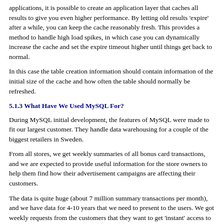applications, it is possible to create an application layer that caches all results to give you even higher performance. By letting old results 'expire' after a while, you can keep the cache reasonably fresh. This provides a method to handle high load spikes, in which case you can dynamically increase the cache and set the expire timeout higher until things get back to normal.
In this case the table creation information should contain information of the initial size of the cache and how often the table should normally be refreshed.
5.1.3 What Have We Used MySQL For?
During MySQL initial development, the features of MySQL were made to fit our largest customer. They handle data warehousing for a couple of the biggest retailers in Sweden.
From all stores, we get weekly summaries of all bonus card transactions, and we are expected to provide useful information for the store owners to help them find how their advertisement campaigns are affecting their customers.
The data is quite huge (about 7 million summary transactions per month), and we have data for 4-10 years that we need to present to the users. We got weekly requests from the customers that they want to get 'instant' access to new reports from this data.
We solved this by storing all information per month in compressed 'transaction' tables. We have a set of simple macros (script) that generates summary tables grouped by different criteria (product group, customer id, store ...) from the transaction tables. The reports are web pages that are dynamically generated by a small Perl script that parses a web page, executes the SQL statements in it, and inserts the results. We would have used PHP or mod_perl instead but they were